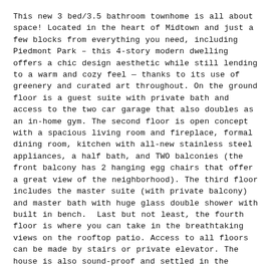This new 3 bed/3.5 bathroom townhome is all about space! Located in the heart of Midtown and just a few blocks from everything you need, including Piedmont Park – this 4-story modern dwelling offers a chic design aesthetic while still lending to a warm and cozy feel — thanks to its use of greenery and curated art throughout. On the ground floor is a guest suite with private bath and access to the two car garage that also doubles as an in-home gym. The second floor is open concept with a spacious living room and fireplace, formal dining room, kitchen with all-new stainless steel appliances, a half bath, and TWO balconies (the front balcony has 2 hanging egg chairs that offer a great view of the neighborhood). The third floor includes the master suite (with private balcony) and master bath with huge glass double shower with built in bench.  Last but not least, the fourth floor is where you can take in the breathtaking views on the rooftop patio. Access to all floors can be made by stairs or private elevator. The house is also sound-proof and settled in the middle of a quaint side street, so you can relax without any of the city noise disturbing you. So what are you waiting for?